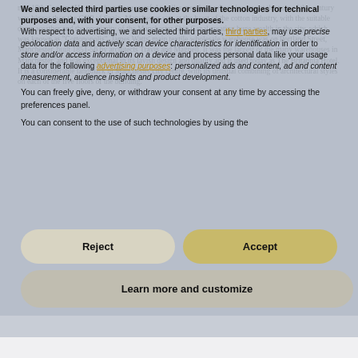mid 19th Century. He was a hugely successful textiles merchant whose income at the turn of the century was bigger than the GNP of Spain. Manchester was at the heart of the cotton industry, with the suitable damp weather and the proximity of the Manchester Ship Canal creating huge wealth in the city, which was known as "Cottonopolis". James Watts' main textile wholesale warehouse was on Portland Street, Manchester, built 1851-56 by architects Travis and Magnell. It was the largest of the many warehouses in Manchester, and was exceptional in its lavish design and quality and is used today as The Britannia Hotel. It is a considerable landmark in Manchester city centre, with its unusual combining of architectural styles on each of the five floors of the building.
We and selected third parties use cookies or similar technologies for technical purposes and, with your consent, for other purposes.
With respect to advertising, we and selected third parties, may use precise geolocation data and actively scan device characteristics for identification in order to store and/or access information on a device and process personal data like your usage data for the following advertising purposes: personalized ads and content, ad and content measurement, audience insights and product development.
You can freely give, deny, or withdraw your consent at any time by accessing the preferences panel.
You can consent to the use of such technologies by using the
Reject
Accept
Learn more and customize